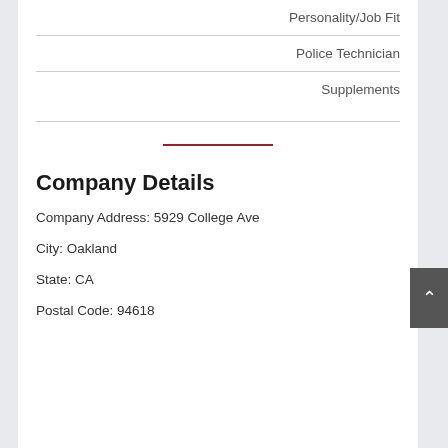Personality/Job Fit
Police Technician
Supplements
Company Details
Company Address: 5929 College Ave
City: Oakland
State: CA
Postal Code: 94618